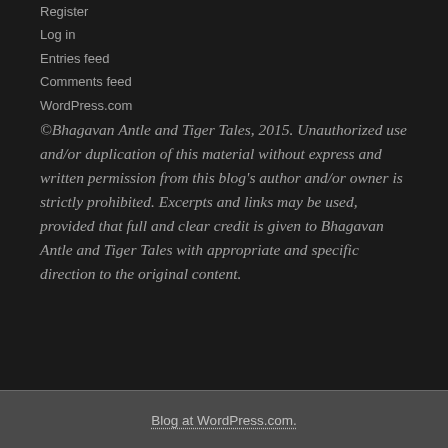Register
Log in
Entries feed
Comments feed
WordPress.com
©Bhagavan Antle and Tiger Tales, 2015. Unauthorized use and/or duplication of this material without express and written permission from this blog's author and/or owner is strictly prohibited. Excerpts and links may be used, provided that full and clear credit is given to Bhagavan Antle and Tiger Tales with appropriate and specific direction to the original content.
Blog at WordPress.com.